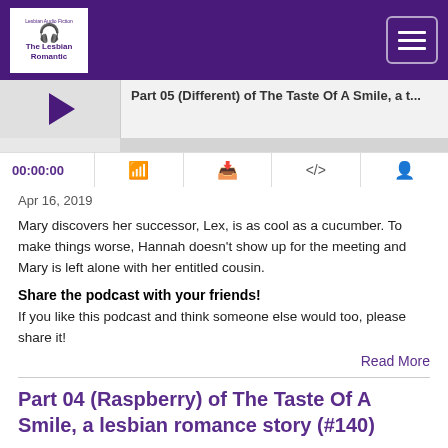The Lesbian Romantic — navigation bar with logo and hamburger menu
[Figure (screenshot): Podcast audio player showing Part 05 (Different) of The Taste Of A Smile, with play button, progress bar, time 00:00:00, and controls for RSS, download, embed, and share]
Apr 16, 2019
Mary discovers her successor, Lex, is as cool as a cucumber. To make things worse, Hannah doesn't show up for the meeting and Mary is left alone with her entitled cousin.
Share the podcast with your friends!
If you like this podcast and think someone else would too, please share it!
Read More
Part 04 (Raspberry) of The Taste Of A Smile, a lesbian romance story (#140)